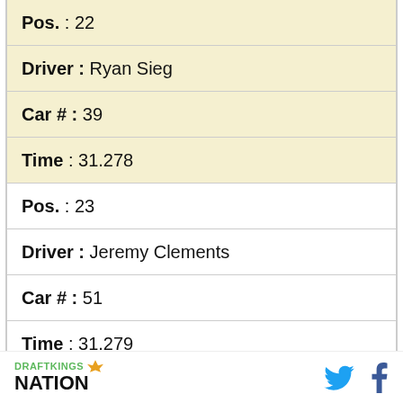Pos. : 22
Driver : Ryan Sieg
Car # : 39
Time : 31.278
Pos. : 23
Driver : Jeremy Clements
Car # : 51
Time : 31.279
Pos. : 24
DRAFTKINGS NATION